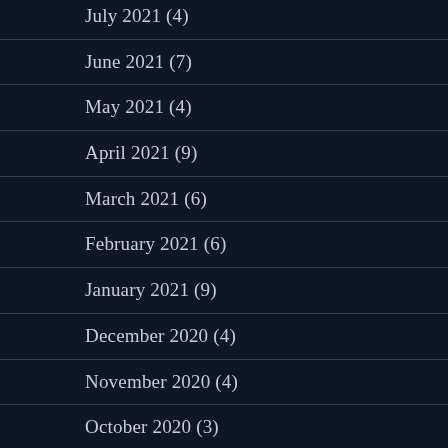July 2021 (4)
June 2021 (7)
May 2021 (4)
April 2021 (9)
March 2021 (6)
February 2021 (6)
January 2021 (9)
December 2020 (4)
November 2020 (4)
October 2020 (3)
September 2020 (7)
August 2020 (8)